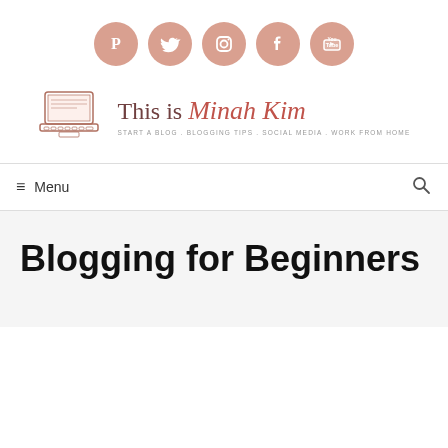[Figure (infographic): Five social media icons (Pinterest, Twitter, Instagram, Facebook, YouTube) as dusty rose/salmon colored circles with white icons inside, arranged horizontally]
[Figure (logo): This is Minah Kim blog logo: a hand-drawn laptop illustration on the left, with the text 'This is Minah Kim' in serif font (Minah Kim in italic red/coral), and subtitle 'START A BLOG . BLOGGING TIPS . SOCIAL MEDIA . WORK FROM HOME' in small caps]
≡ Menu
Blogging for Beginners